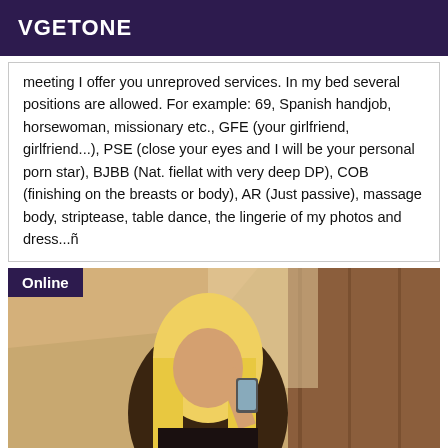VGETONE
meeting I offer you unreproved services. In my bed several positions are allowed. For example: 69, Spanish handjob, horsewoman, missionary etc., GFE (your girlfriend, girlfriend...), PSE (close your eyes and I will be your personal porn star), BJBB (Nat. fiellat with very deep DP), COB (finishing on the breasts or body), AR (Just passive), massage body, striptease, table dance, the lingerie of my photos and dress...ñ
[Figure (photo): Person with blonde hair taking a mirror selfie, wearing dark clothing, with wooden furniture visible in the background. 'Online' badge in top-left corner.]